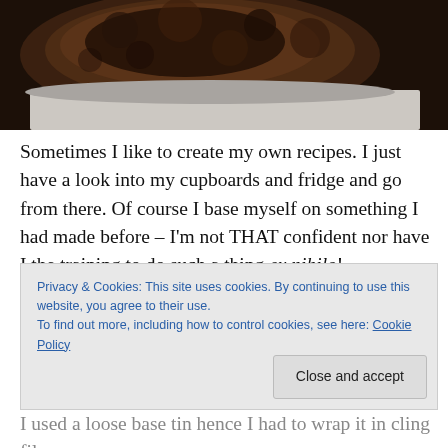[Figure (photo): Top portion of a dark chocolate cake or dessert on a plate, viewed from above/side, dark brown crumbly texture with light plate visible at edges.]
Sometimes I like to create my own recipes. I just have a look into my cupboards and fridge and go from there. Of course I base myself on something I had made before – I'm not THAT confident nor have I the training to do such a thing ex nihilo!
In this particular case I had some Oreo crumbs that needed using and lots of cream cheese lying around so...
Privacy & Cookies: This site uses cookies. By continuing to use this website, you agree to their use. To find out more, including how to control cookies, see here: Cookie Policy
I used a loose base tin hence I had to wrap it in cling film